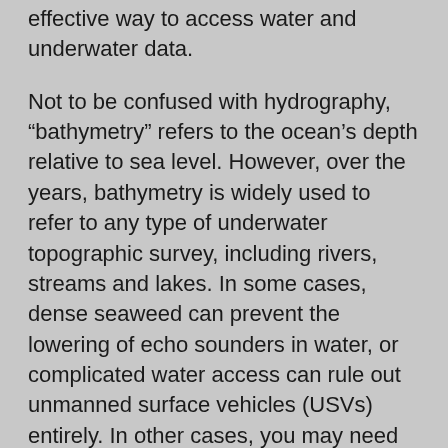effective way to access water and underwater data.
Not to be confused with hydrography, “bathymetry” refers to the ocean’s depth relative to sea level. However, over the years, bathymetry is widely used to refer to any type of underwater topographic survey, including rivers, streams and lakes. In some cases, dense seaweed can prevent the lowering of echo sounders in water, or complicated water access can rule out unmanned surface vehicles (USVs) entirely. In other cases, you may need to conduct multiple surveys of small ponds, lakes or trenches. For such survey projects, drones can be outfitted with an echo sounder to move across a water’s surface.
“It is better to use a drone with an echo sounder for mapping, measuring and inspecting tasks and environmental monitoring if you are conducting bathymetric surveys of tailings dams and ponds,” explains Alexey Dobrovolskiy, CTO at SPH Engineering, which